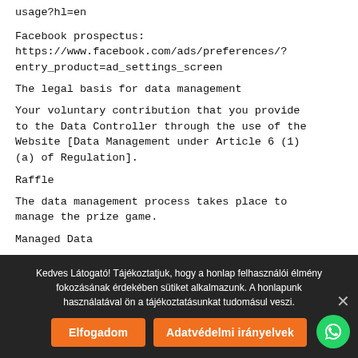usage?hl=en
Facebook prospectus: https://www.facebook.com/ads/preferences/?entry_product=ad_settings_screen
The legal basis for data management
Your voluntary contribution that you provide to the Data Controller through the use of the Website [Data Management under Article 6 (1) (a) of Regulation].
Raffle
The data management process takes place to manage the prize game.
Managed Data
Kedves Látogató! Tájékoztatjuk, hogy a honlap felhasználói élmény fokozásának érdekében sütiket alkalmazunk. A honlapunk használatával ön a tájékoztatásunkat tudomásul veszi.
Elfogadom
Adatvédelmi irányelvek